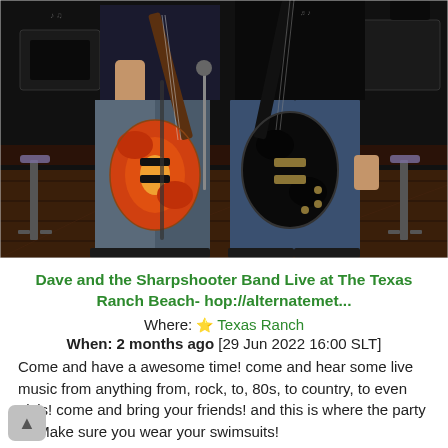[Figure (photo): Two people holding electric guitars (a sunburst Les Paul and a black Les Paul) standing in what appears to be a bar or venue setting with barstools visible in the background. The individuals are wearing jeans and dark shirts; one has visible tattoos.]
Dave and the Sharpshooter Band Live at The Texas Ranch Beach- hop://alternatemet...
Where: Texas Ranch
When: 2 months ago [29 Jun 2022 16:00 SLT]
Come and have a awesome time! come and hear some live music from anything from, rock, to, 80s, to country, to even elvis! come and bring your friends! and this is where the party is! Make sure you wear your swimsuits!